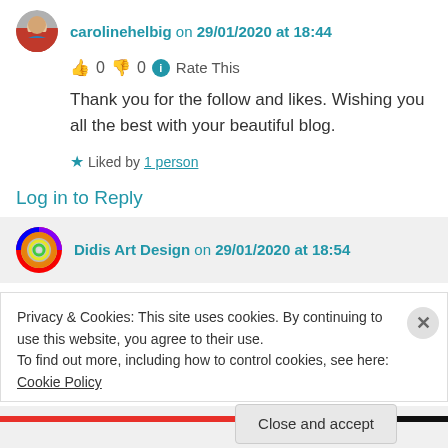carolinehelbig on 29/01/2020 at 18:44
👍 0 👎 0 ℹ Rate This
Thank you for the follow and likes. Wishing you all the best with your beautiful blog.
★ Liked by 1 person
Log in to Reply
Didis Art Design on 29/01/2020 at 18:54
Privacy & Cookies: This site uses cookies. By continuing to use this website, you agree to their use.
To find out more, including how to control cookies, see here: Cookie Policy
Close and accept